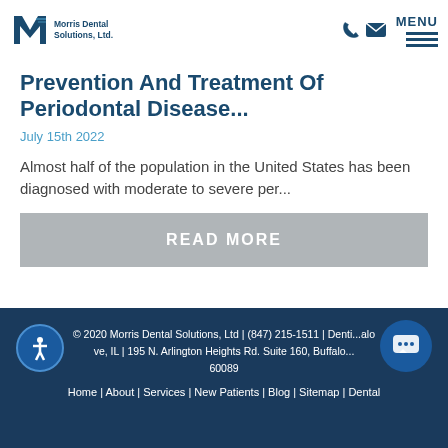Morris Dental Solutions, Ltd. — MENU
Prevention And Treatment Of Periodontal Disease...
July 15th 2022
Almost half of the population in the United States has been diagnosed with moderate to severe per...
READ MORE
© 2020 Morris Dental Solutions, Ltd | (847) 215-1511 | Denti... alo ve, IL | 195 N. Arlington Heights Rd. Suite 160, Buffalo... 60089 Home | About | Services | New Patients | Blog | Sitemap | Dental